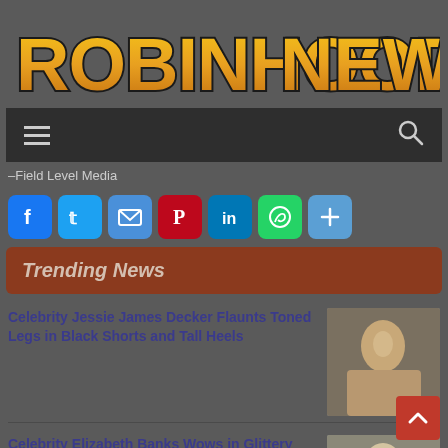[Figure (logo): RobinhoodNews logo in orange/gold and black block letters with thick black outline]
[Figure (screenshot): Navigation bar with hamburger menu icon on left and search icon on right, dark background]
–Field Level Media
[Figure (infographic): Social sharing buttons: Facebook, Twitter, Email, Pinterest, LinkedIn, WhatsApp, More]
Trending News
Celebrity Jessie James Decker Flaunts Toned Legs in Black Shorts and Tall Heels
[Figure (photo): Photo of a blonde woman (Jessie James Decker)]
Celebrity Elizabeth Banks Wows in Glittery Minidress for Press Your Luck Promotion Photoshoot
[Figure (photo): Photo of Elizabeth Banks]